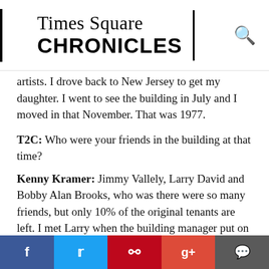Times Square CHRONICLES
artists. I drove back to New Jersey to get my daughter. I went to see the building in July and I moved in that November. That was 1977.
T2C: Who were your friends in the building at that time?
Kenny Kramer: Jimmy Vallely, Larry David and Bobby Alan Brooks, who was there were so many friends, but only 10% of the original tenants are left. I met Larry when the building manager put on a cabaret featuring the talented residents. I was the MC. Everyone “was thrilled to do it except Larry, so I badgered him. He was such a hit. I told him “You were the hit of the night!” and he said “I was afraid of the manager seeing my act and